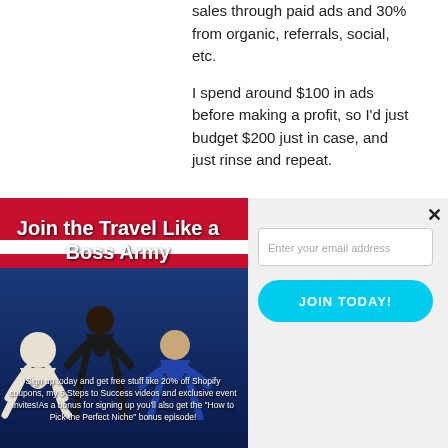Now I get 70% of my sales through paid ads and 30% from organic, referrals, social, etc.
I spend around $100 in ads before making a profit, so I'd just budget $200 just in case, and just rinse and repeat.
[Figure (photo): Email signup popup overlay showing 'Join the Travel Like a Boss Army' with martial arts fighters image on left and email input form on right with cyan JOIN TODAY! button and X close button]